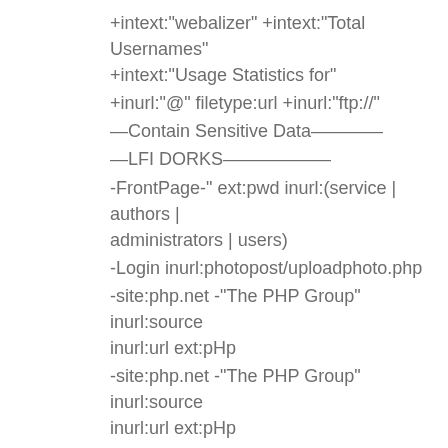+intext:"webalizer" +intext:"Total Usernames" +intext:"Usage Statistics for"
+inurl:"@" filetype:url +inurl:"ftp://"
—Contain Sensitive Data————
—LFI DORKS——————
-FrontPage-" ext:pwd inurl:(service | authors | administrators | users)
-Login inurl:photopost/uploadphoto.php
-site:php.net -"The PHP Group" inurl:source inurl:url ext:pHp
-site:php.net -"The PHP Group" inurl:source inurl:url ext:pHp
-site:php.net -"The PHP Group" inurl:source inurl:url ext:pHp
.asp?CategoryID=
.asp?ProdID=
.asp?Sku=
.asp?StyleID=